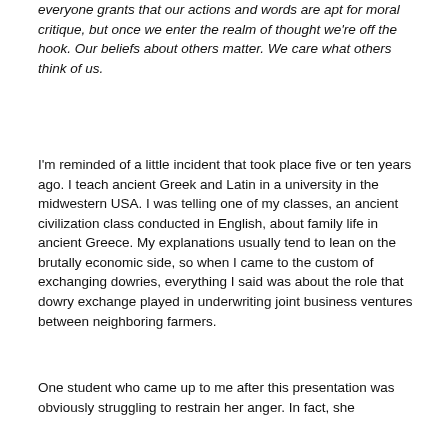everyone grants that our actions and words are apt for moral critique, but once we enter the realm of thought we're off the hook. Our beliefs about others matter. We care what others think of us.
I'm reminded of a little incident that took place five or ten years ago. I teach ancient Greek and Latin in a university in the midwestern USA. I was telling one of my classes, an ancient civilization class conducted in English, about family life in ancient Greece. My explanations usually tend to lean on the brutally economic side, so when I came to the custom of exchanging dowries, everything I said was about the role that dowry exchange played in underwriting joint business ventures between neighboring farmers.
One student who came up to me after this presentation was obviously struggling to restrain her anger. In fact, she was furious with me. She was forced to bite back her words…